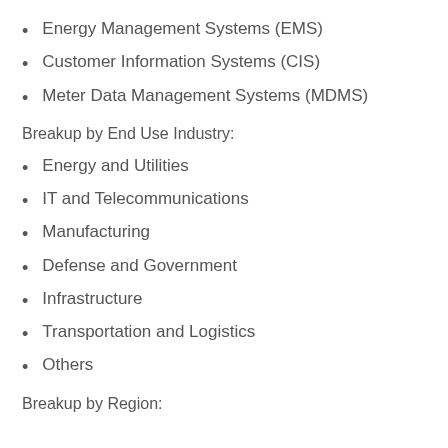Energy Management Systems (EMS)
Customer Information Systems (CIS)
Meter Data Management Systems (MDMS)
Breakup by End Use Industry:
Energy and Utilities
IT and Telecommunications
Manufacturing
Defense and Government
Infrastructure
Transportation and Logistics
Others
Breakup by Region: